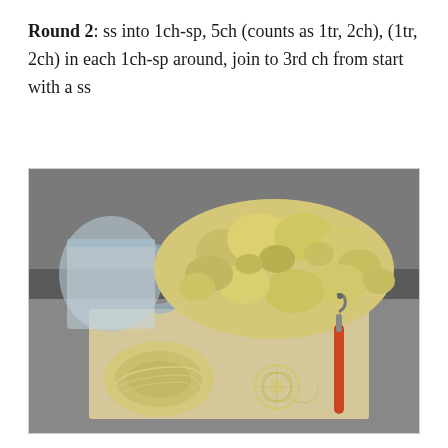Round 2: ss into 1ch-sp, 5ch (counts as 1tr, 2ch), (1tr, 2ch) in each 1ch-sp around, join to 3rd ch from start with a ss
[Figure (photo): A crochet crafting scene showing a large natural sea sponge, a ball of ecru/cream yarn, a small crocheted lace motif in progress, and a crochet hook with a red handle, arranged on a surface next to a glass container.]